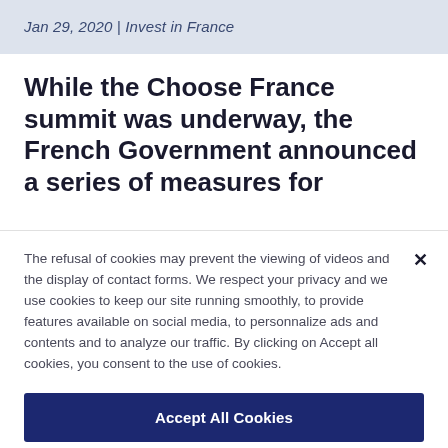Jan 29, 2020 | Invest in France
While the Choose France summit was underway, the French Government announced a series of measures for
The refusal of cookies may prevent the viewing of videos and the display of contact forms. We respect your privacy and we use cookies to keep our site running smoothly, to provide features available on social media, to personnalize ads and contents and to analyze our traffic. By clicking on Accept all cookies, you consent to the use of cookies.
Accept All Cookies
Reject All